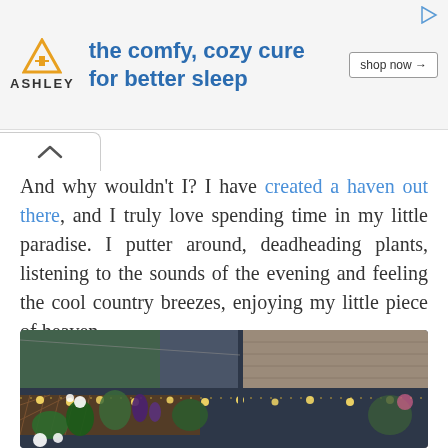[Figure (infographic): Ashley Furniture advertisement banner: orange house logo, tagline 'the comfy, cozy cure for better sleep', shop now button, play icon]
And why wouldn't I? I have created a haven out there, and I truly love spending time in my little paradise. I putter around, deadheading plants, listening to the sounds of the evening and feeling the cool country breezes, enjoying my little piece of heaven.
[Figure (photo): Garden photo at dusk showing flowering plants, string lights along a wooden lattice fence, and a house with gray siding in the background.]